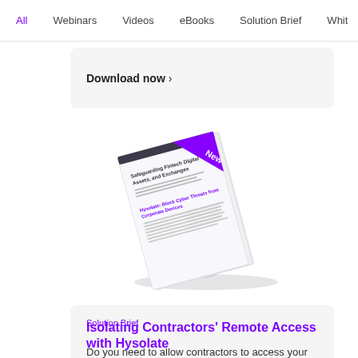All  Webinars  Videos  eBooks  Solution Brief  Whit
Download now ›
[Figure (illustration): A tilted document/book cover for 'Safeguarding Fintech Digital Assets and Exchanges' with a purple 'New' ribbon in the top-right corner. The document mentions 'Hysolate: Block Cyber Threats from Corporate Devices'.]
Solution Brief
Isolating Contractors' Remote Access with Hysolate
Do you need to allow contractors to access your corporate assets?